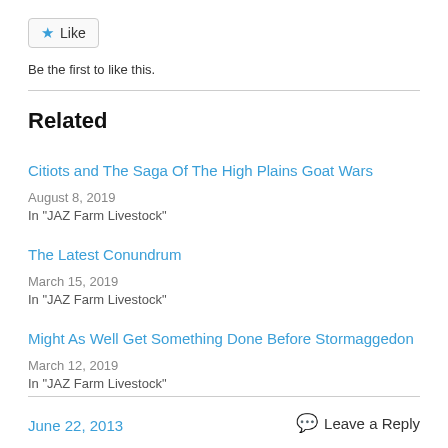[Figure (other): Like button with star icon]
Be the first to like this.
Related
Citiots and The Saga Of The High Plains Goat Wars
August 8, 2019
In "JAZ Farm Livestock"
The Latest Conundrum
March 15, 2019
In "JAZ Farm Livestock"
Might As Well Get Something Done Before Stormaggedon
March 12, 2019
In "JAZ Farm Livestock"
June 22, 2013    Leave a Reply